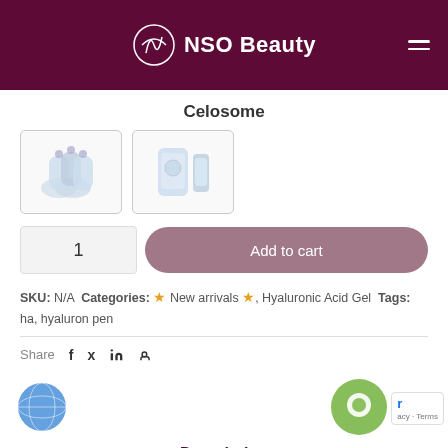NSO Beauty
Celosome
[Figure (photo): Two product thumbnail images of Celosome hyaluronic acid gel vials and packaging]
1
Add to cart
SKU: N/A  Categories: ★ New arrivals ★, Hyaluronic Acid Gel  Tags: ha, hyaluron pen
Share
[Figure (illustration): Globe icon at bottom left]
[Figure (illustration): Chat bubble icon at bottom right]
Description